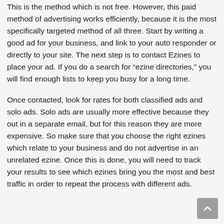This is the method which is not free. However, this paid method of advertising works efficiently, because it is the most specifically targeted method of all three. Start by writing a good ad for your business, and link to your auto responder or directly to your site. The next step is to contact Ezines to place your ad. If you do a search for “ezine directories,” you will find enough lists to keep you busy for a long time.
Once contacted, look for rates for both classified ads and solo ads. Solo ads are usually more effective because they out in a separate email, but for this reason they are more expensive. So make sure that you choose the right ezines which relate to your business and do not advertise in an unrelated ezine. Once this is done, you will need to track your results to see which ezines bring you the most and best traffic in order to repeat the process with different ads.